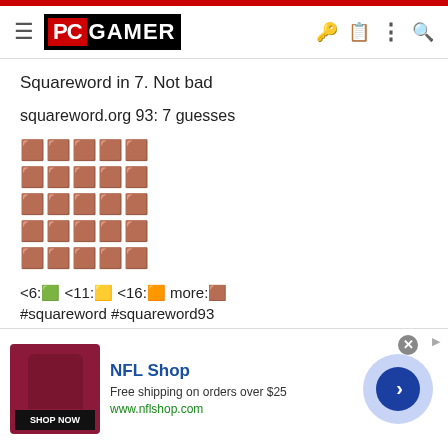PC GAMER
Squareword in 7. Not bad
squareword.org 93: 7 guesses
🟫🟫🟫🟫🟫
🟫🟫🟫🟫🟫
🟫🟫🟫🟫🟫
🟫🟫🟫🟫🟫
🟫🟫🟫🟫🟫
<6:🟩 <11:🟨 <16:🟧 more:🟫
#squareword #squareword93
[Figure (screenshot): NFL Shop advertisement banner with red product image, shop now button, NFL Shop branding in blue, free shipping text, www.nflshop.com URL, and a blue arrow button on a light purple circle background]